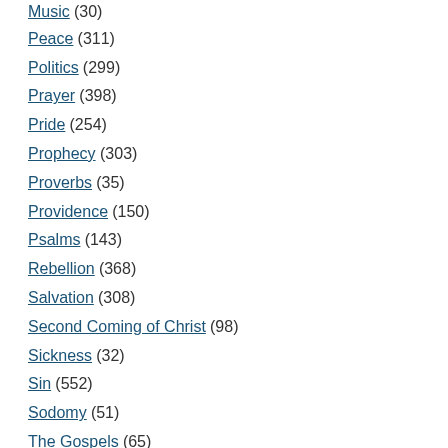Music (30)
Peace (311)
Politics (299)
Prayer (398)
Pride (254)
Prophecy (303)
Proverbs (35)
Providence (150)
Psalms (143)
Rebellion (368)
Salvation (308)
Second Coming of Christ (98)
Sickness (32)
Sin (552)
Sodomy (51)
The Gospels (65)
Theology (739)
Transsexual (33)
Trials and Temptations (113)